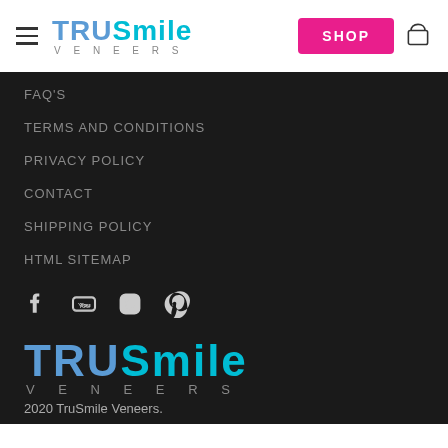TRUSmile VENEERS — SHOP
FAQ'S
TERMS AND CONDITIONS
PRIVACY POLICY
CONTACT
SHIPPING POLICY
HTML SITEMAP
[Figure (logo): Social media icons: Facebook, YouTube, Instagram, Pinterest]
[Figure (logo): TRUSmile Veneers footer logo]
2020 TruSmile Veneers.